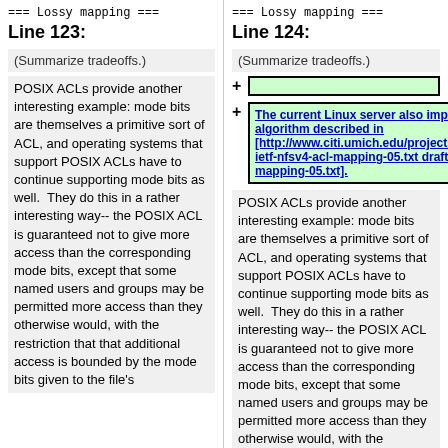=== Lossy mapping ===
Line 123:
=== Lossy mapping ===
Line 124:
(Summarize tradeoffs.)
(Summarize tradeoffs.)
The current Linux server also implements a lossy algorithm described in [http://www.citi.umich.edu/projects/nfsv4/rfc/draft-ietf-nfsv4-acl-mapping-05.txt draft-ietf-nfsv4-acl-mapping-05.txt].
POSIX ACLs provide another interesting example: mode bits are themselves a primitive sort of ACL, and operating systems that support POSIX ACLs have to continue supporting mode bits as well.  They do this in a rather interesting way-- the POSIX ACL is guaranteed not to give more access than the corresponding mode bits, except that some named users and groups may be permitted more access than they otherwise would, with the restriction that that additional access is bounded by the mode bits given to the file's
POSIX ACLs provide another interesting example: mode bits are themselves a primitive sort of ACL, and operating systems that support POSIX ACLs have to continue supporting mode bits as well.  They do this in a rather interesting way-- the POSIX ACL is guaranteed not to give more access than the corresponding mode bits, except that some named users and groups may be permitted more access than they otherwise would, with the restriction that that additional access is bounded by the mode bits given to the file's